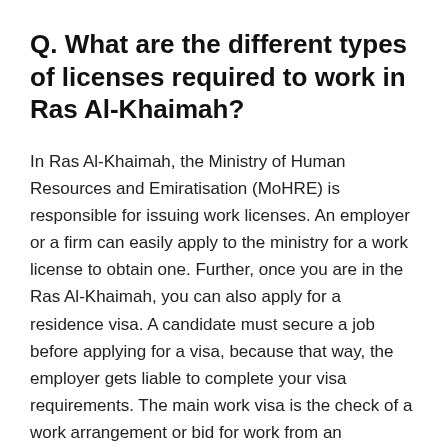Q. What are the different types of licenses required to work in Ras Al-Khaimah?
In Ras Al-Khaimah, the Ministry of Human Resources and Emiratisation (MoHRE) is responsible for issuing work licenses. An employer or a firm can easily apply to the ministry for a work license to obtain one. Further, once you are in the Ras Al-Khaimah, you can also apply for a residence visa. A candidate must secure a job before applying for a visa, because that way, the employer gets liable to complete your visa requirements. The main work visa is the check of a work arrangement or bid for work from an association inside the Ras Al-Khaimah. The wide range of various